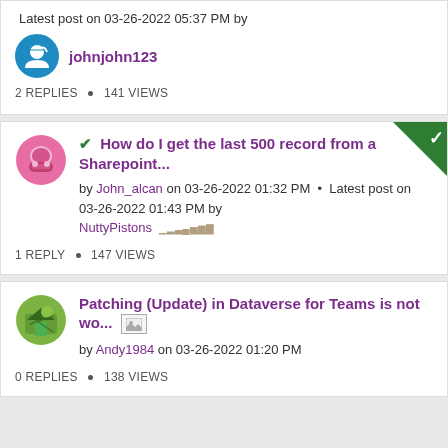Latest post on 03-26-2022 05:37 PM by johnjohn123
2 REPLIES • 141 VIEWS
✔ How do I get the last 500 record from a Sharepoint...
by John_alcan on 03-26-2022 01:32 PM • Latest post on 03-26-2022 01:43 PM by NuttyPistons
1 REPLY • 147 VIEWS
Patching (Update) in Dataverse for Teams is not wo... [image]
by Andy1984 on 03-26-2022 01:20 PM
0 REPLIES • 138 VIEWS